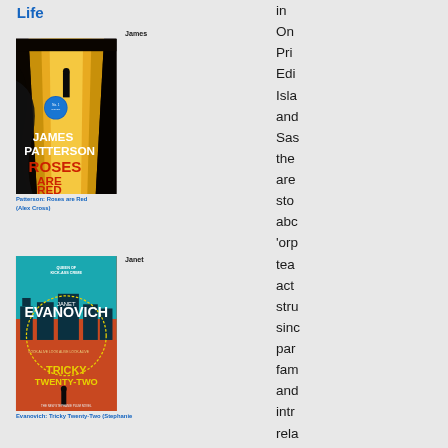Life
[Figure (photo): Book cover: James Patterson - Roses are Red (Alex Cross)]
James
Patterson: Roses are Red (Alex Cross)
[Figure (photo): Book cover: Janet Evanovich - Tricky Twenty-Two (Stephanie Plum novel)]
Janet
Evanovich: Tricky Twenty-Two (Stephanie
in
On
Pri
Edi
Isla
and
Sas
the
are
sto
abc
'orp
tea
act
stru
sinc
par
fam
and
intr
rela
Son
like
Fat